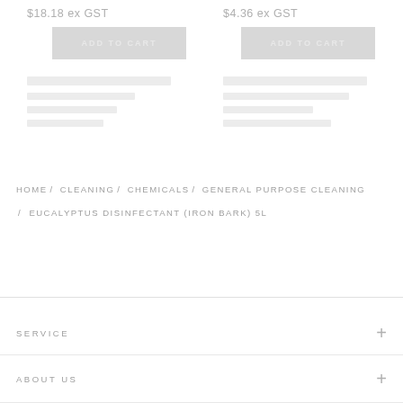$18.18 ex GST
$4.36 ex GST
ADD TO CART
ADD TO CART
HOME / CLEANING / CHEMICALS / GENERAL PURPOSE CLEANING / EUCALYPTUS DISINFECTANT (IRON BARK) 5L
SERVICE
ABOUT US